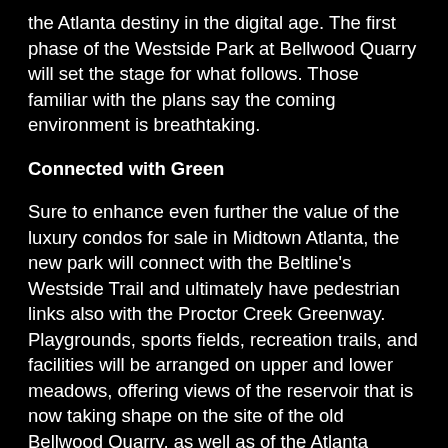the Atlanta destiny in the digital age. The first phase of the Westside Park at Bellwood Quarry will set the stage for what follows. Those familiar with the plans say the coming environment is breathtaking.
Connected with Green
Sure to enhance even further the value of the luxury condos for sale in Midtown Atlanta, the new park will connect with the Beltline's Westside Trail and ultimately have pedestrian links also with the Proctor Creek Greenway. Playgrounds, sports fields, recreation trails, and facilities will be arranged on upper and lower meadows, offering views of the reservoir that is now taking shape on the site of the old Bellwood Quarry, as well as of the Atlanta skyline.
The 45-acre lake that Bellwood Quarry provides in the park design will double as a reservoir of 2.5 billion gallons, a month's supply of Atlanta's clean drinking water in case the city's primary supply becomes...